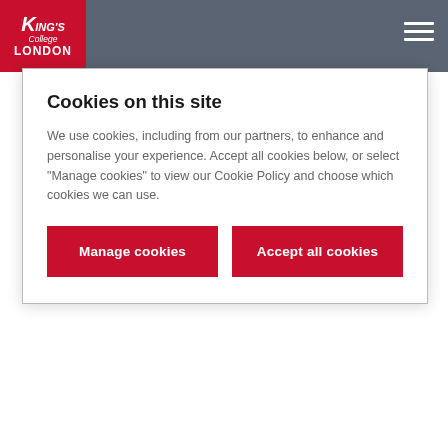King's College London
Cookies on this site
We use cookies, including from our partners, to enhance and personalise your experience. Accept all cookies below, or select "Manage cookies" to view our Cookie Policy and choose which cookies we can use.
Manage cookies | Accept all cookies
should undergo BMT.
Leading the field in research
Between 2009 and 2014 King's led a clinical trial assessing 2569 samples obtained from 346 patients who had undergone intensive treatment for AML. The team discovered that molecular testing could provide vital prognostic information, revealing that molecular measurable residual disease (MRD)